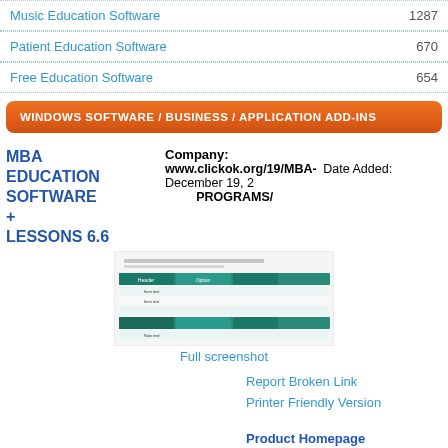Music Education Software  1287
Patient Education Software  670
Free Education Software  654
WINDOWS SOFTWARE / BUSINESS / APPLICATION ADD-INS
MBA EDUCATION SOFTWARE + LESSONS 6.6
Company: www.clickok.org/19/MBA-PROGRAMS/  Date Added: December 19, 2
[Figure (screenshot): Small thumbnail screenshot of MBA Education Software application]
Full screenshot
Report Broken Link
Printer Friendly Version
Product Homepage
Download (42 downloads)